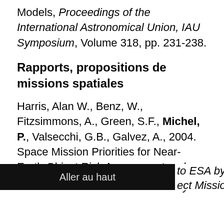Models, Proceedings of the International Astronomical Union, IAU Symposium, Volume 318, pp. 231-238.
Rapports, propositions de missions spatiales
Harris, Alan W., Benz, W., Fitzsimmons, A., Green, S.F., Michel, P., Valsecchi, G.B., Galvez, A., 2004. Space Mission Priorities for Near-Earth Object Risk Assessment and Reduction. Report of [Aller au haut] to ESA by [Near-Earth Object] ect Mission